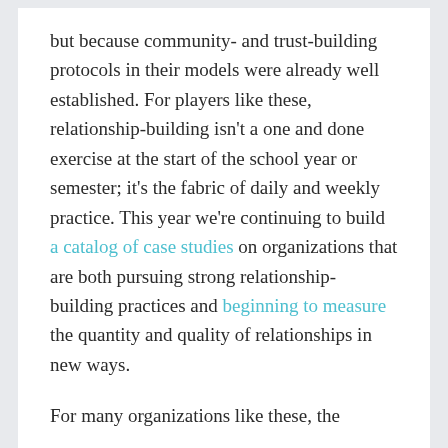but because community- and trust-building protocols in their models were already well established. For players like these, relationship-building isn't a one and done exercise at the start of the school year or semester; it's the fabric of daily and weekly practice. This year we're continuing to build a catalog of case studies on organizations that are both pursuing strong relationship-building practices and beginning to measure the quantity and quality of relationships in new ways.
For many organizations like these, the